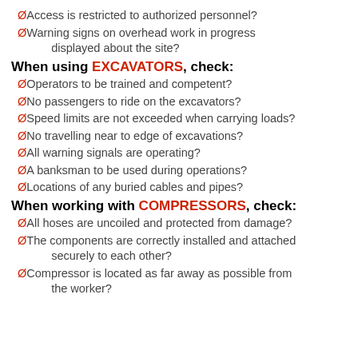ØAccess is restricted to authorized personnel?
ØWarning signs on overhead work in progress displayed about the site?
When using EXCAVATORS, check:
ØOperators to be trained and competent?
ØNo passengers to ride on the excavators?
ØSpeed limits are not exceeded when carrying loads?
ØNo travelling near to edge of excavations?
ØAll warning signals are operating?
ØA banksman to be used during operations?
ØLocations of any buried cables and pipes?
When working with COMPRESSORS, check:
ØAll hoses are uncoiled and protected from damage?
ØThe components are correctly installed and attached securely to each other?
ØCompressor is located as far away as possible from the worker?